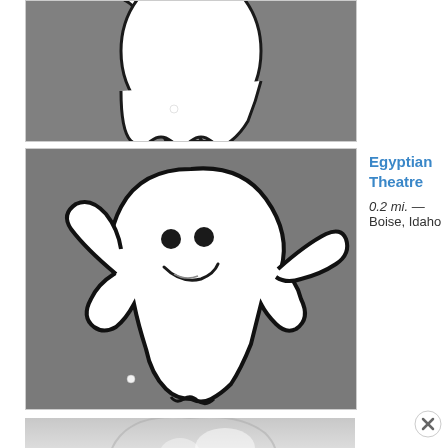[Figure (illustration): Ghost illustration with wavy dripping bottom on dark gray background, upper portion cut off showing bottom half of ghost shape with two small white circles]
[Figure (illustration): Friendly cartoon ghost with smiling face, raised arms, on dark gray background]
Egyptian Theatre
0.2 mi. — Boise, Idaho
[Figure (illustration): Reflection/bottom portion of ghost illustration fading to white/light gray]